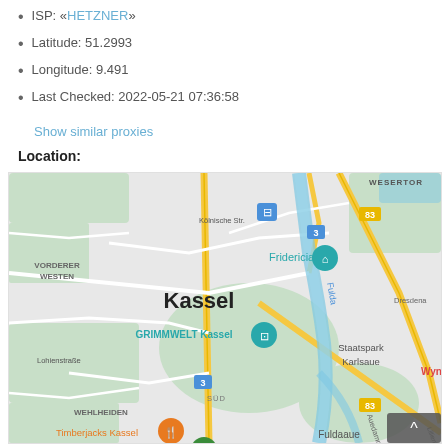ISP: «HETZNER»
Latitude: 51.2993
Longitude: 9.491
Last Checked: 2022-05-21 07:36:58
Show similar proxies
Location:
[Figure (map): Google Maps view centered on Kassel, Germany showing Fridericianum, GRIMMWELT Kassel, Staatspark Karlsaue, Auestadion Kassel, Timberjacks Kassel, Fuldaaue, with road numbers 3 and 83 visible and the Fulda river.]